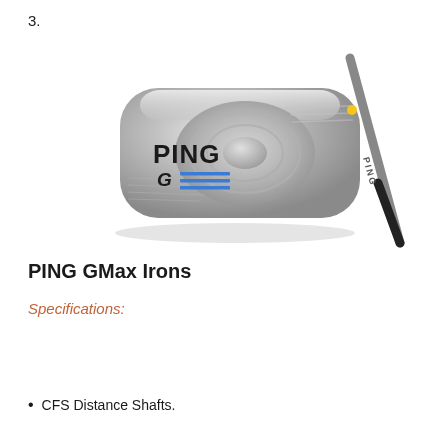3.
[Figure (photo): PING GMax iron golf club head, silver/chrome finish, with PING G logo and blue stripes on face, showing the hosel and part of the shaft with a yellow dot and black grip wrap]
PING GMax Irons
Specifications:
CFS Distance Shafts.